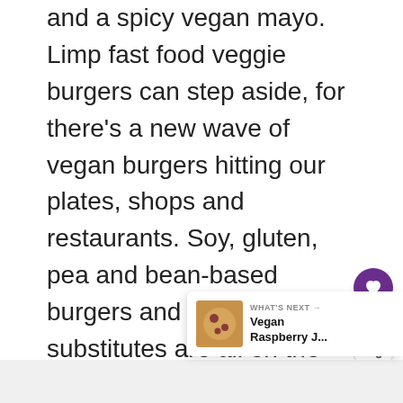and a spicy vegan mayo. Limp fast food veggie burgers can step aside, for there's a new wave of vegan burgers hitting our plates, shops and restaurants. Soy, gluten, pea and bean-based burgers and other meat substitutes are all on the rise and non-meat eaters have more choice than ever.
[Figure (other): Like button (heart icon) in purple circle with count of 5, and a share button below it]
[Figure (other): What's Next navigation bar showing a thumbnail of food and text 'Vegan Raspberry J...']